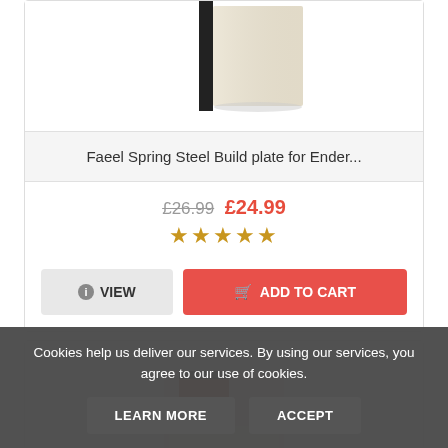[Figure (photo): Product image of Faeel Spring Steel Build plate for Ender, shown partially at top of card]
Faeel Spring Steel Build plate for Ender...
£26.99 £24.99 ★★★★★
VIEW  ADD TO CART
[Figure (photo): Partial product image of a second item, cut off at bottom]
Cookies help us deliver our services. By using our services, you agree to our use of cookies.
LEARN MORE  ACCEPT